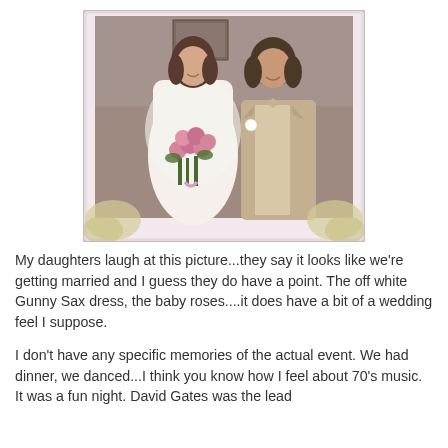[Figure (photo): Vintage 1970s prom or formal dance photo of a young woman in an off-white Gunny Sax dress holding pink baby roses bouquet and a young man in a tan/beige suit with a bow tie and boutonniere, standing together. Photo has a pink decorative frame with floral corner embellishments.]
My daughters laugh at this picture...they say it looks like we're getting married and I guess they do have a point. The off white Gunny Sax dress, the baby roses....it does have a bit of a wedding feel I suppose.
I don't have any specific memories of the actual event. We had dinner, we danced...I think you know how I feel about 70's music. It was a fun night. David Gates was the lead